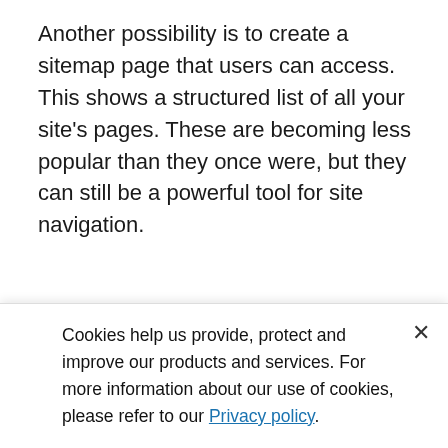Another possibility is to create a sitemap page that users can access. This shows a structured list of all your site's pages. These are becoming less popular than they once were, but they can still be a powerful tool for site navigation.
Site menus and SEO
Does your site menu influence SEO? Sure it does! You're unlikely to get a lot of internal linking benefit from adding items to your menu. But there are other ways your menu can benefit your SEO, and that benefit is to do with how
Cookies help us provide, protect and improve our products and services. For more information about our use of cookies, please refer to our Privacy policy.